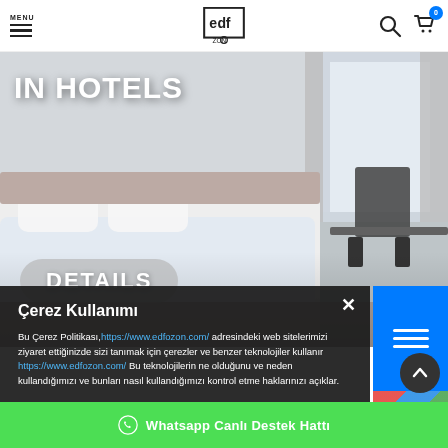MENU — edfozon logo — search and cart icons
[Figure (photo): Hotel room scene with bed and chair, overlaid with text IN HOTELS and DETAILS badge]
IN HOTELS
DETAILS
Çerez Kullanımı
Bu Çerez Politikası, https://www.edfozon.com/ adresindeki web sitelerimizi ziyaret ettiğinizde sizi tanımak için çerezler ve benzer teknolojiler kullanır https://www.edfozon.com/ Bu teknolojilerin ne olduğunu ve neden kullandığımızı ve bunları nasıl kullandığımızı kontrol etme haklarınızı açıklar.
Whatsapp Canlı Destek Hattı